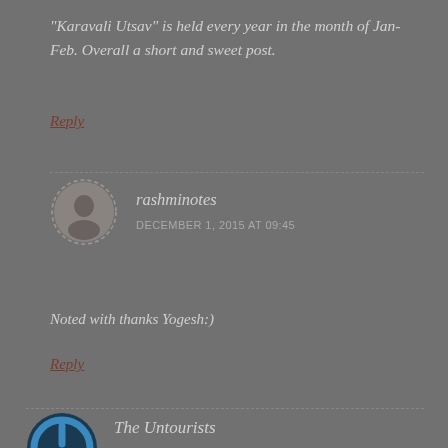"Karavali Utsav" is held every year in the month of Jan-Feb. Overall a short and sweet post.
Reply
rashminotes
DECEMBER 1, 2015 AT 09:45
Noted with thanks Yogesh:)
Reply
The Untourists
DECEMBER 16, 2015 AT 18:11